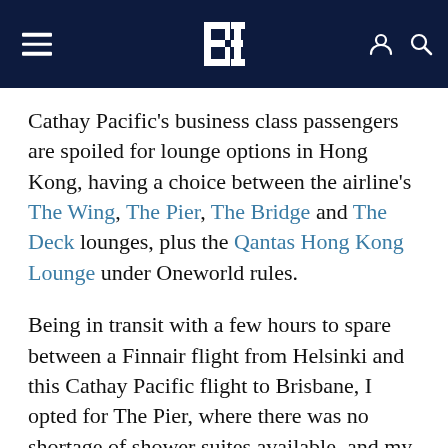BE (logo header with hamburger menu, user icon, search icon)
Cathay Pacific's business class passengers are spoiled for lounge options in Hong Kong, having a choice between the airline's The Wing, The Pier, The Bridge and The Deck lounges, plus the Qantas Hong Kong Lounge under Oneworld rules.
Being in transit with a few hours to spare between a Finnair flight from Helsinki and this Cathay Pacific flight to Brisbane, I opted for The Pier, where there was no shortage of shower suites available, and my Dan Dan noodles from the…